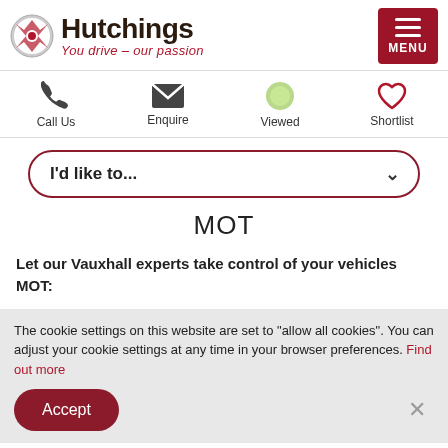[Figure (logo): Hutchings logo with circular emblem and tagline 'You drive - our passion']
[Figure (infographic): Navigation icons row: Call Us (phone), Enquire (envelope), Viewed (green circle), Shortlist (heart)]
I'd like to...
MOT
Let our Vauxhall experts take control of your vehicles MOT:
The cookie settings on this website are set to "allow all cookies". You can adjust your cookie settings at any time in your browser preferences. Find out more